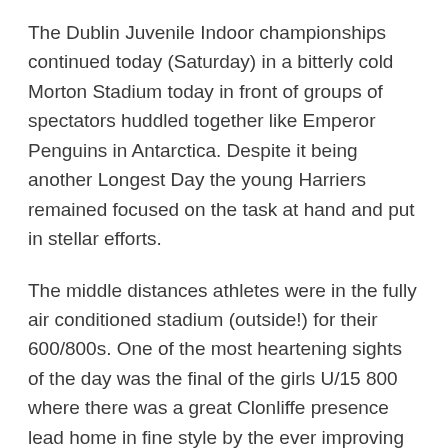The Dublin Juvenile Indoor championships continued today (Saturday) in a bitterly cold Morton Stadium today in front of groups of spectators huddled together like Emperor Penguins in Antarctica. Despite it being another Longest Day the young Harriers remained focused on the task at hand and put in stellar efforts.
The middle distances athletes were in the fully air conditioned stadium (outside!) for their 600/800s. One of the most heartening sights of the day was the final of the girls U/15 800 where there was a great Clonliffe presence lead home in fine style by the ever improving Amy Hodson who took the Dublin title with a hard chasing Ella Brown in 3rd place.